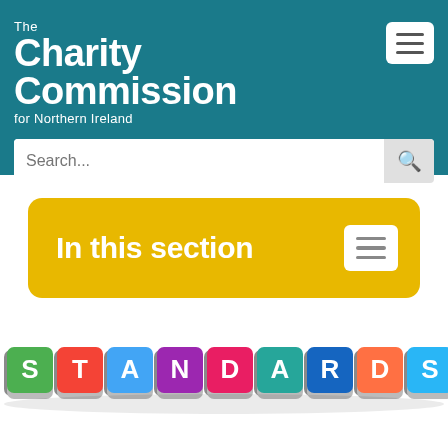[Figure (logo): The Charity Commission for Northern Ireland logo in white text on teal background, with hamburger menu button]
[Figure (screenshot): Search bar with placeholder text 'Search...' and search icon button]
In this section
[Figure (photo): Colorful 3D letter blocks spelling out STANDARDS in various colors (green, orange, blue, purple, pink, teal, dark blue, orange, blue)]